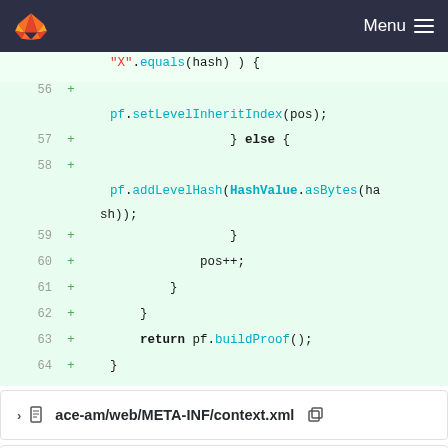Menu
[Figure (screenshot): Code diff view showing lines 56-65 of a Java file with added lines (+) in green background. Contains code with pf.setLevelInheritIndex(pos), else block with pf.addLevelHash(HashValue.asBytes(hash)), pos++, closing braces, return pf.buildProof(), and closing brace.]
ace-am/web/META-INF/context.xml
ace-am/web/WEB-INF/1.5-1.6.updates.sql  0
→ 100644